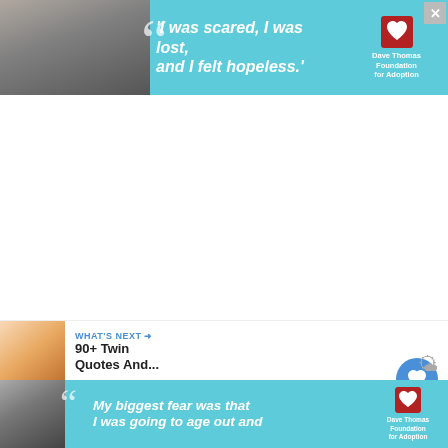[Figure (infographic): Dave Thomas Foundation for Adoption advertisement banner at top. Teal/cyan background with a young woman photo on left, large quotation mark, italic text reading "I was scared, I was lost, and I felt hopeless.", and Dave Thomas Foundation for Adoption logo with heart on right. X close button top right.]
It didn't take long to recognise the shortcomings of the Soviet regime and to see the value of the fre
[Figure (infographic): WHAT'S NEXT section with photo of babies/twins on left and text '90+ Twin Quotes And...' on right]
[Figure (infographic): Dave Thomas Foundation for Adoption advertisement banner at bottom. Teal/cyan background with a man in hat photo on left, large quotation mark, italic text reading "My biggest fear was that I was going to age out and", and Dave Thomas Foundation for Adoption logo. X close button.]